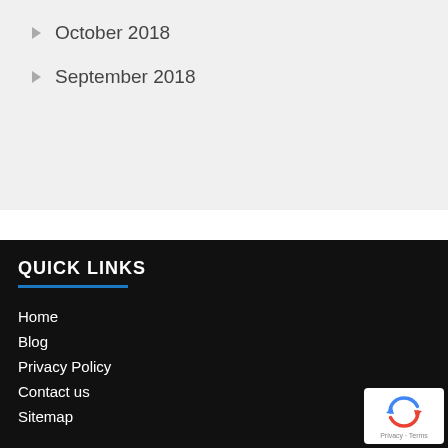October 2018
September 2018
QUICK LINKS
Home
Blog
Privacy Policy
Contact us
Sitemap
[Figure (logo): reCAPTCHA badge with circular arrow logo and Privacy · Terms text]